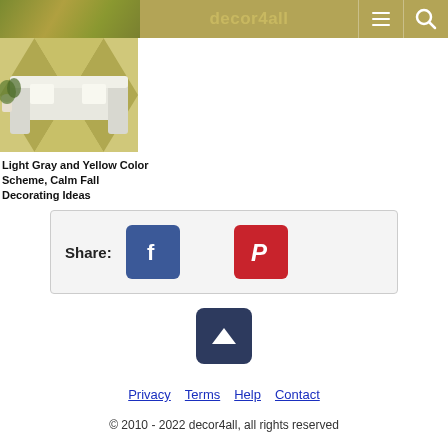decor4all
[Figure (photo): Interior room photo showing a white sofa and a yellow diamond-pattern floor rug]
Light Gray and Yellow Color Scheme, Calm Fall Decorating Ideas
Share:
[Figure (other): Facebook share button (blue rounded square with white 'f' icon)]
[Figure (other): Pinterest share button (red rounded square with white 'P' icon)]
[Figure (other): Back to top button (dark navy rounded square with white upward triangle arrow)]
Privacy   Terms   Help   Contact
© 2010 - 2022 decor4all, all rights reserved